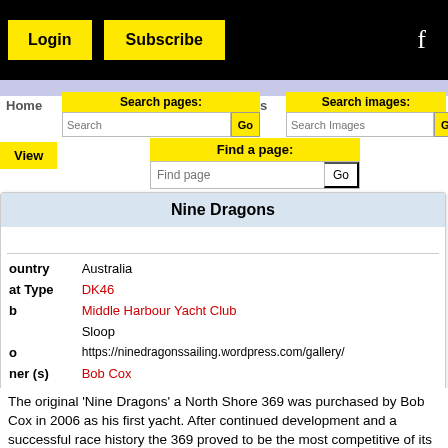[Figure (screenshot): Website navigation bar with Login and Subscribe yellow buttons and Facebook icon on black background]
Home | Recent updates | List all pages | View
[Figure (screenshot): Search pages, Search images, Find a page input boxes with Go buttons]
Nine Dragons
| Field | Value |
| --- | --- |
| Country | Australia |
| Boat Type | DK46 |
| Club | Middle Harbour Yacht Club |
|  | Sloop |
| Blog | https://ninedragonssailing.wordpress.com/gallery/ |
| Owner (s) | Bob Cox |
| Email | ninedragons@gmx.com. |
The original 'Nine Dragons' a North Shore 369 was purchased by Bob Cox in 2006 as his first yacht. After continued development and a successful race history the 369 proved to be the most competitive of its kind on IRC,